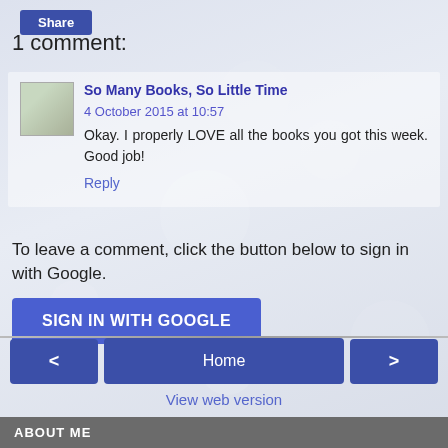Share
1 comment:
So Many Books, So Little Time 4 October 2015 at 10:57
Okay. I properly LOVE all the books you got this week. Good job!
Reply
To leave a comment, click the button below to sign in with Google.
SIGN IN WITH GOOGLE
< Home >
View web version
ABOUT ME